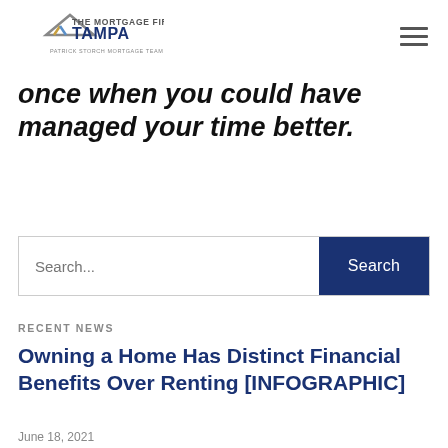[Figure (logo): The Mortgage Firm Tampa - Patrick Storch Mortgage Team logo with roof/arrow icon]
once when you could have managed your time better.
[Figure (other): Search bar with placeholder 'Search...' and a navy 'Search' button]
RECENT NEWS
Owning a Home Has Distinct Financial Benefits Over Renting [INFOGRAPHIC]
June 18, 2021